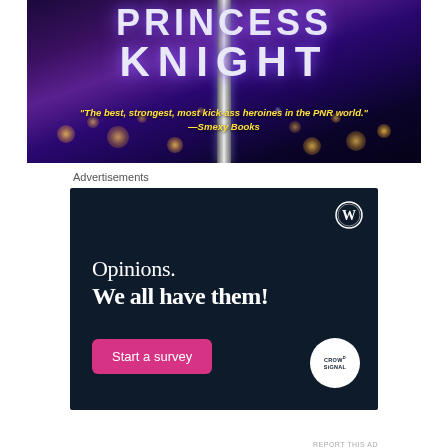[Figure (illustration): Book cover for 'Princess Knight' showing the title text in large white letters against a dark purple/blue bokeh background with a metallic sword. A yellow italic quote reads: "The best, strongest, most kick-ass heroines in the PNR world." —Smexy Books]
Advertisements
[Figure (infographic): WordPress advertisement banner on dark navy background. WordPress logo in top right. Text: 'Opinions. We all have them!' with a pink 'Start a survey' button and CrowdSignal logo circle in bottom right.]